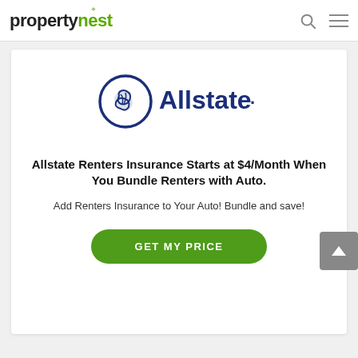propertynest
[Figure (logo): Allstate logo — blue circle with hands and Allstate. wordmark in blue]
Allstate Renters Insurance Starts at $4/Month When You Bundle Renters with Auto.
Add Renters Insurance to Your Auto! Bundle and save!
GET MY PRICE